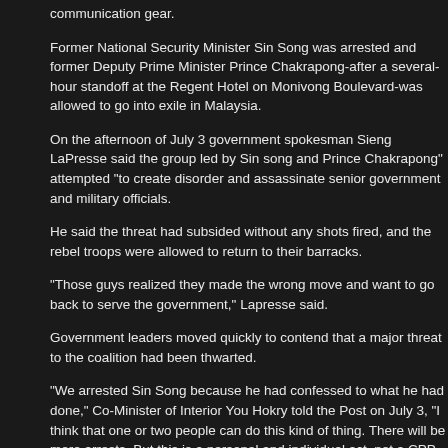communication gear.
Former National Security Minister Sin Song was arrested and former Deputy Prime Minister Prince Chakrapong-after a several-hour standoff at the Regent Hotel on Monivong Boulevard-was allowed to go into exile in Malaysia.
On the afternoon of July 3 government spokesman Sieng LaPresse said the group led by Sin song and Prince Chakrapong" attempted "to create disorder and assassinate senior government and military officials.
He said the threat had subsided without any shots fired, and the rebel troops were allowed to return to their barracks.
"Those guys realized they made the wrong move and want to go back to serve the government," Lapresse said.
Government leaders moved quickly to contend that a major threat to the coalition had been thwarted.
"We arrested Sin Song because he had confessed to what he had done," Co-Minister of Interior You Hokry told the Post on July 3, "I think that one or two people can do this kind of thing. There will be more arrests. But this is a personal and individual act, not a CPP policy."
Government officials fuelled confusion about the plot by giving conflicting accounts of the motives of the two alleged ringleaders.
Coalition spokesmen said Sin Song had confessed and said the reason he attempted the coup was that King Sihanouk had suggested bringing back the Khmer Rouge into a government of national unity, which was, to him, unacceptable.